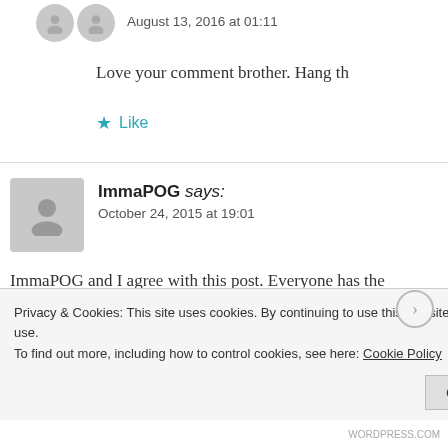August 13, 2016 at 01:11
Love your comment brother. Hang th
★ Like
ImmaPOG says:
October 24, 2015 at 19:01
ImmaPOG and I agree with this post. Everyone has the right. I was a 91B (wheeled vehicle mechanic). I wanted and they didnt tell me I could wait. Anyways, I enjoyed brought vehicles. Good ol boys. Appreciated the time t
Privacy & Cookies: This site uses cookies. By continuing to use this website, you agree to their use.
To find out more, including how to control cookies, see here: Cookie Policy
Close and accept